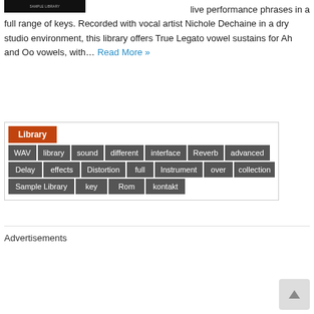[Figure (screenshot): Small dark thumbnail image of a product/library]
live performance phrases in a full range of keys. Recorded with vocal artist Nichole Dechaine in a dry studio environment, this library offers True Legato vowel sustains for Ah and Oo vowels, with… Read More »
Library
WAV
library
sound
different
interface
Reverb
advanced
Delay
effects
Distortion
full
Instrument
over
collection
Sample Library
key
Rom
kontakt
Advertisements